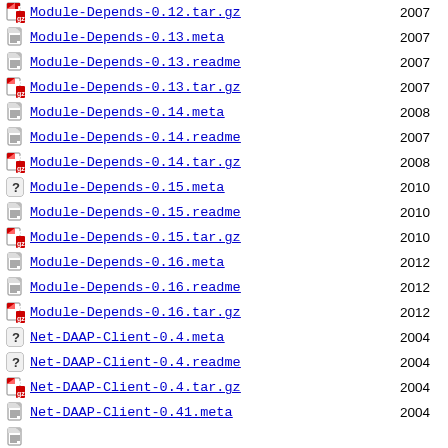Module-Depends-0.12.tar.gz 2007
Module-Depends-0.13.meta 2007
Module-Depends-0.13.readme 2007
Module-Depends-0.13.tar.gz 2007
Module-Depends-0.14.meta 2008
Module-Depends-0.14.readme 2007
Module-Depends-0.14.tar.gz 2008
Module-Depends-0.15.meta 2010
Module-Depends-0.15.readme 2010
Module-Depends-0.15.tar.gz 2010
Module-Depends-0.16.meta 2012
Module-Depends-0.16.readme 2012
Module-Depends-0.16.tar.gz 2012
Net-DAAP-Client-0.4.meta 2004
Net-DAAP-Client-0.4.readme 2004
Net-DAAP-Client-0.4.tar.gz 2004
Net-DAAP-Client-0.41.meta 2004
Net-DAAP-Client-0.41.readme (partial)